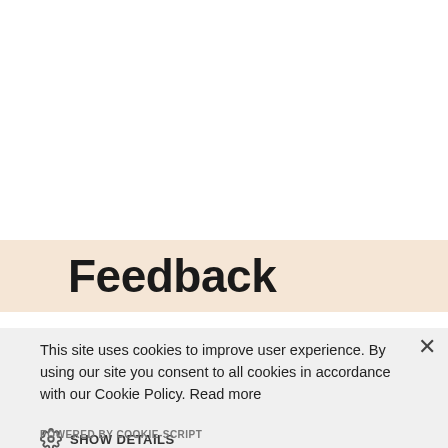Feedback
This site uses cookies to improve user experience. By using our site you consent to all cookies in accordance with our Cookie Policy. Read more
SHOW DETAILS
ACCEPT
DECLINE
POWERED BY COOKIE-SCRIPT